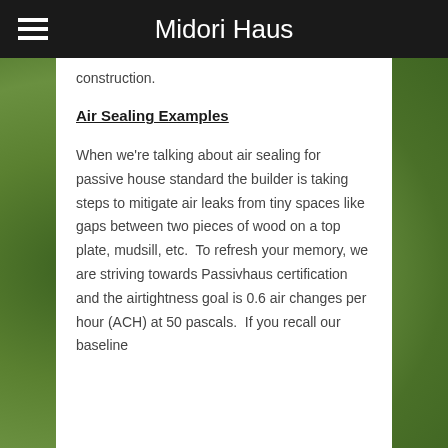Midori Haus
construction.
Air Sealing Examples
When we're talking about air sealing for passive house standard the builder is taking steps to mitigate air leaks from tiny spaces like gaps between two pieces of wood on a top plate, mudsill, etc.  To refresh your memory, we are striving towards Passivhaus certification and the airtightness goal is 0.6 air changes per hour (ACH) at 50 pascals.  If you recall our baseline